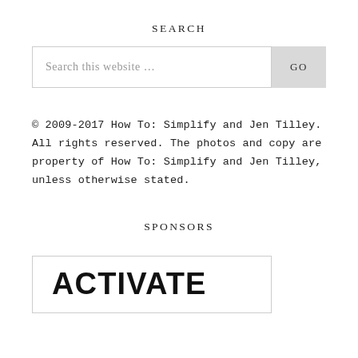SEARCH
[Figure (screenshot): Search bar with text 'Search this website ...' and a GO button]
© 2009-2017 How To: Simplify and Jen Tilley. All rights reserved. The photos and copy are property of How To: Simplify and Jen Tilley, unless otherwise stated.
SPONSORS
[Figure (screenshot): Box with bold text ACTIVATE]